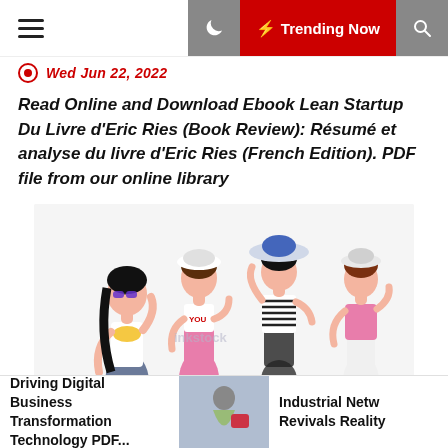Wed Jun 22, 2022
Read Online and Download Ebook Lean Startup Du Livre d'Eric Ries (Book Review): Résumé et analyse du livre d'Eric Ries (French Edition). PDF file from our online library
[Figure (illustration): Cartoon illustration of four fashionable young women posing together, wearing colorful outfits and hats]
Driving Digital Business Transformation Technology PDF...
Industrial Netw Revivals Reality